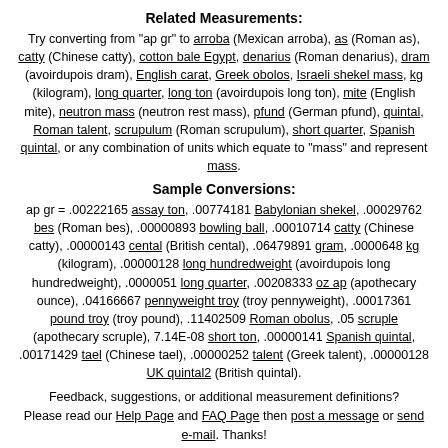Related Measurements:
Try converting from "ap gr" to arroba (Mexican arroba), as (Roman as), catty (Chinese catty), cotton bale Egypt, denarius (Roman denarius), dram (avoirdupois dram), English carat, Greek obolos, Israeli shekel mass, kg (kilogram), long quarter, long ton (avoirdupois long ton), mite (English mite), neutron mass (neutron rest mass), pfund (German pfund), quintal, Roman talent, scrupulum (Roman scrupulum), short quarter, Spanish quintal, or any combination of units which equate to "mass" and represent mass.
Sample Conversions:
ap gr = .00222165 assay ton, .00774181 Babylonian shekel, .00029762 bes (Roman bes), .00000893 bowling ball, .00010714 catty (Chinese catty), .00000143 cental (British cental), .06479891 gram, .0000648 kg (kilogram), .00000128 long hundredweight (avoirdupois long hundredweight), .0000051 long quarter, .00208333 oz ap (apothecary ounce), .04166667 pennyweight troy (troy pennyweight), .00017361 pound troy (troy pound), .11402509 Roman obolus, .05 scruple (apothecary scruple), 7.14E-08 short ton, .00000141 Spanish quintal, .00171429 tael (Chinese tael), .00000252 talent (Greek talent), .00000128 UK quintal2 (British quintal).
Feedback, suggestions, or additional measurement definitions? Please read our Help Page and FAQ Page then post a message or send e-mail. Thanks!
©2000 ConvertIt.com, Inc. All rights reserved. Terms of Use.